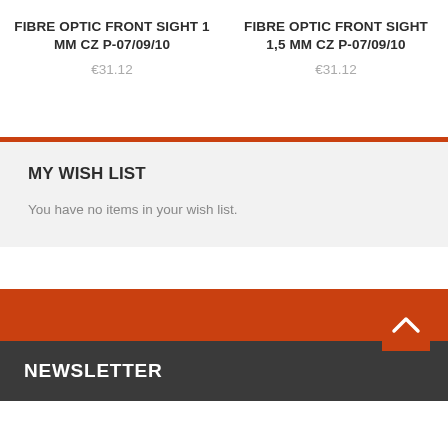FIBRE OPTIC FRONT SIGHT 1 MM CZ P-07/09/10
€31.12
FIBRE OPTIC FRONT SIGHT 1,5 MM CZ P-07/09/10
€31.12
MY WISH LIST
You have no items in your wish list.
NEWSLETTER